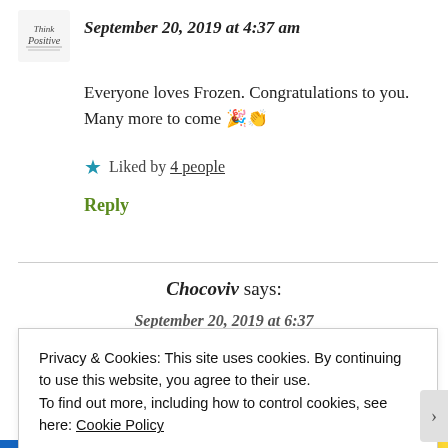September 20, 2019 at 4:37 am
Everyone loves Frozen. Congratulations to you. Many more to come 🎉👏
★ Liked by 4 people
Reply
Chocoviv says:
September 20, 2019 at 6:37
Privacy & Cookies: This site uses cookies. By continuing to use this website, you agree to their use.
To find out more, including how to control cookies, see here: Cookie Policy
Close and accept